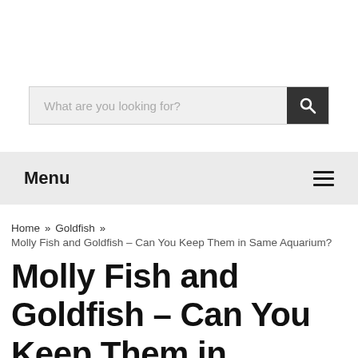[Figure (screenshot): Search bar with placeholder text 'What are you looking for?' and a dark search button with magnifying glass icon]
Menu
Home » Goldfish »
Molly Fish and Goldfish – Can You Keep Them in Same Aquarium?
Molly Fish and Goldfish – Can You Keep Them in